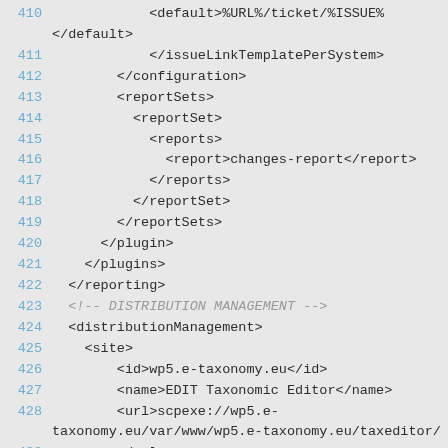Code listing lines 410-432 showing XML configuration including reportSets, distributionManagement, site, and repository elements